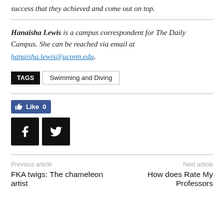success that they achieved and come out on top.
Hanaisha Lewis is a campus correspondent for The Daily Campus. She can be reached via email at hanaisha.lewis@uconn.edu.
TAGS  Swimming and Diving
[Figure (infographic): Like button showing 'Like 0' in Facebook blue style, and two social share buttons (Facebook and Twitter) in black.]
Previous article  FKA twigs: The chameleon artist
Next article  How does Rate My Professors